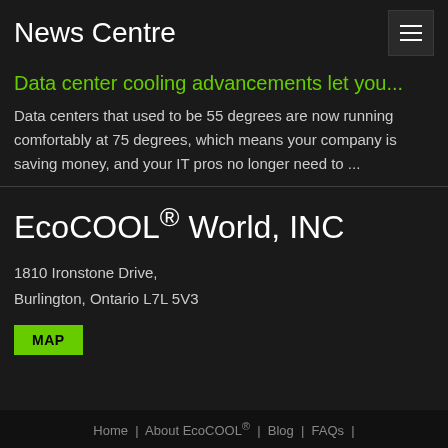News Centre
Data center cooling advancements let you...
Data centers that used to be 55 degrees are now running comfortably at 75 degrees, which means your company is saving money, and your IT pros no longer need to ...
EcoCOOL® World, INC
1810 Ironstone Drive, Burlington, Ontario L7L 5V3
MAP
Home | About EcoCOOL® | Blog | FAQs |